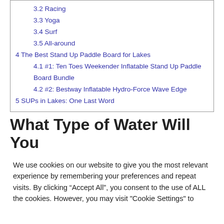3.2 Racing
3.3 Yoga
3.4 Surf
3.5 All-around
4 The Best Stand Up Paddle Board for Lakes
4.1 #1: Ten Toes Weekender Inflatable Stand Up Paddle Board Bundle
4.2 #2: Bestway Inflatable Hydro-Force Wave Edge
5 SUPs in Lakes: One Last Word
What Type of Water Will You
We use cookies on our website to give you the most relevant experience by remembering your preferences and repeat visits. By clicking “Accept All”, you consent to the use of ALL the cookies. However, you may visit "Cookie Settings" to